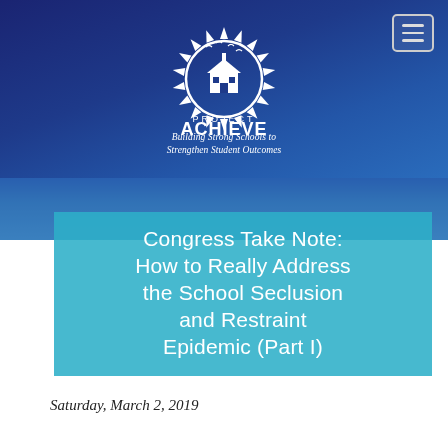[Figure (logo): Project ACHIEVE logo: white sunburst/spiky circle with a school building icon in the center, birds flying above. Text 'PROJECT ACHIEVE' in bold white letters, with tagline 'Building Strong Schools to Strengthen Student Outcomes' in italic white text below.]
Congress Take Note: How to Really Address the School Seclusion and Restraint Epidemic (Part I)
Saturday, March 2, 2019